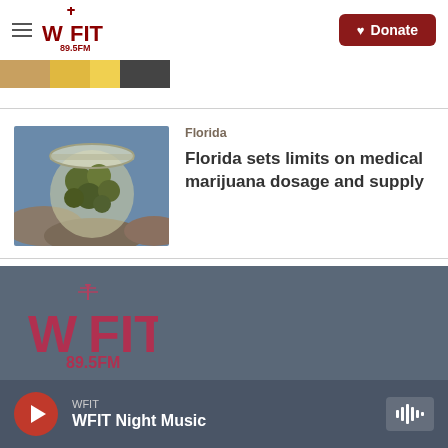WFIT 89.5FM — Donate
[Figure (photo): Partial thumbnail strip of a news article image at top of page]
[Figure (photo): Close-up photo of cannabis buds in a glass jar on a rocky surface]
Florida
Florida sets limits on medical marijuana dosage and supply
[Figure (logo): WFIT 89.5FM logo in dark red/maroon color in the footer area]
WFIT — WFIT Night Music